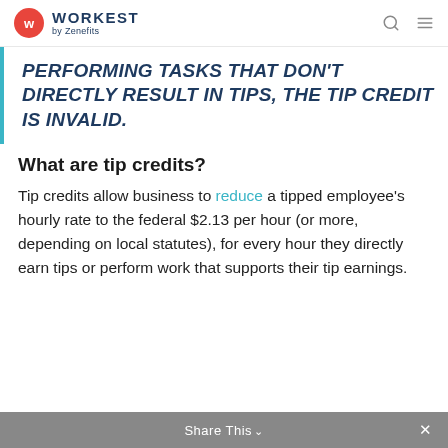WORKEST by Zenefits
PERFORMING TASKS THAT DON'T DIRECTLY RESULT IN TIPS, THE TIP CREDIT IS INVALID.
What are tip credits?
Tip credits allow business to reduce a tipped employee's hourly rate to the federal $2.13 per hour (or more, depending on local statutes), for every hour they directly earn tips or perform work that supports their tip earnings.
Share This